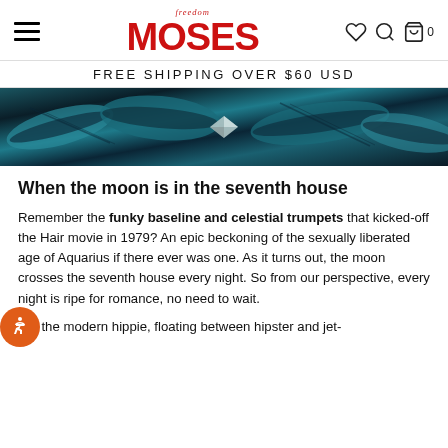Freedom MOSES — navigation bar with hamburger menu, logo, heart/search/cart icons
FREE SHIPPING OVER $60 USD
[Figure (photo): Close-up banner image of teal/turquoise and black feather-like or leaf-like textile patterns with a diamond/gem element in the center]
When the moon is in the seventh house
Remember the funky baseline and celestial trumpets that kicked-off the Hair movie in 1979? An epic beckoning of the sexually liberated age of Aquarius if there ever was one. As it turns out, the moon crosses the seventh house every night. So from our perspective, every night is ripe for romance, no need to wait.
For the modern hippie, floating between hipster and jet-